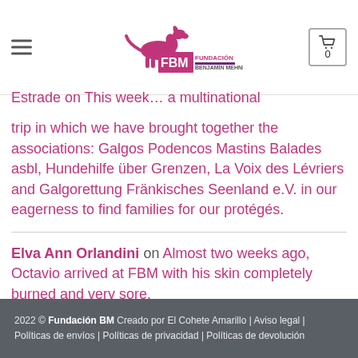FBM Fundación Benjamín Mehnert
Estrade on This week... a multinational trip in which we have brought together the associations: Galgos Podencos Mastins Balades asbl, Hundehilfe über Grenzen, La Voix des Lévriers and Galgorettung Fränkisches Seenland e.V. in our eagerness to find families for our protégés.
Elva Ann Orlandini on Almost two weeks ago, Octavio arrived at FBM with his skin completely burned and very sore.
2022 © Fundación BM Creado por El Cohete Amarillo | Aviso legal | Políticas de envíos | Políticas de privacidad | Políticas de devolución